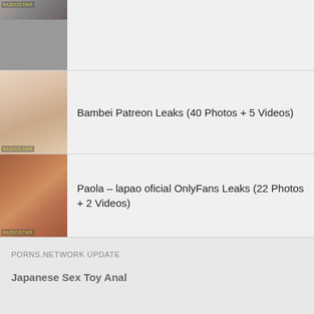[Figure (photo): Thumbnail image partially visible at top]
Bambei Patreon Leaks (40 Photos + 5 Videos)
[Figure (photo): Thumbnail image for Paola lapao oficial entry]
Paola – lapao oficial OnlyFans Leaks (22 Photos + 2 Videos)
PORNS.NETWORK UPDATE
Japanese Sex Toy Anal
Horny blonde body massage teen neighbor